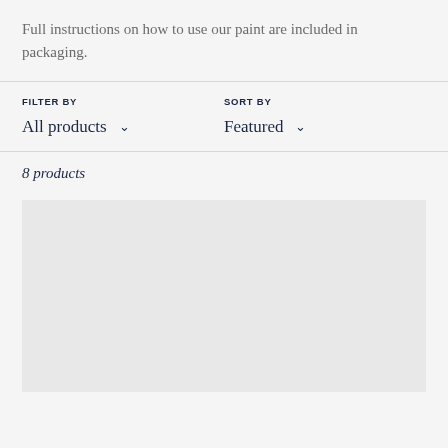Full instructions on how to use our paint are included in packaging.
FILTER BY
All products
SORT BY
Featured
8 products
[Figure (other): Light grey placeholder rectangle for a product image]